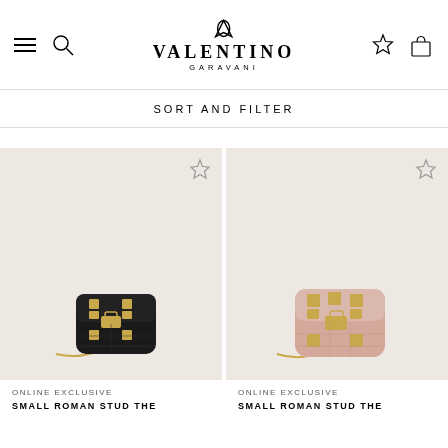[Figure (logo): Valentino Garavani logo with V logo mark above brand name]
SORT AND FILTER
[Figure (photo): Small Roman Stud black quilted leather bag with gold studs and chain strap on beige background]
[Figure (photo): Small Roman Stud pink/nude quilted leather bag with gold studs and chain strap on beige background]
ONLINE EXCLUSIVE
SMALL ROMAN STUD THE
ONLINE EXCLUSIVE
SMALL ROMAN STUD THE